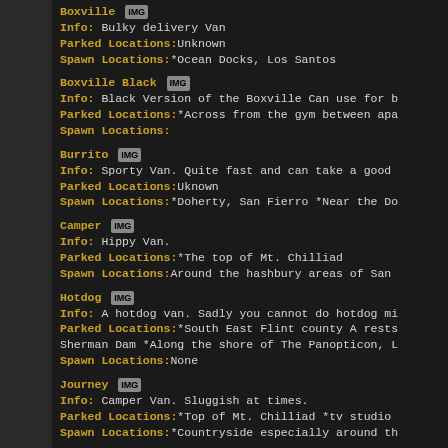Boxville IMG
Info: Bulky delivery Van
Parked Locations:Unknown
Spawn Locations:*Ocean Docks, Los Santos
Boxville Black IMG
Info: Black Version of the Boxville Can use for b
Parked Locations:*Across from the gym between apa
Spawn Locations:
Burrito IMG
Info: Sporty Van. Quite fast and can take a good
Parked Locations:Uknown
Spawn Locations:*Doherty, San Fierro *Near the Do
Camper IMG
Info: Hippy Van.
Parked Locations:*The top of Mt. Chilliad
Spawn Locations:Around the hashbury areas of San
Hotdog IMG
Info: A hotdog van. Sadly you cannot do hotdog mi
Parked Locations:*South East Flint county A rests
Sherman Dam *Along the shore of The Panopticon, L
Spawn Locations:None
Journey IMG
Info: Camper Van. Sluggish at times.
Parked Locations:*Top of Mt. Chilliad *tv studio
Spawn Locations:*Countryside especially around th
Monster IMG
Info: Monster Truck. Has 4WD(Four Wheel Drive)
Parked Locations:*Outside the stadium in Los Sant
*Achieve 50% progress in your relationship with M
spawns when she?s home next to her garage.
Spawn Locations: None
Moonbeam IMG
Info: Family Van.